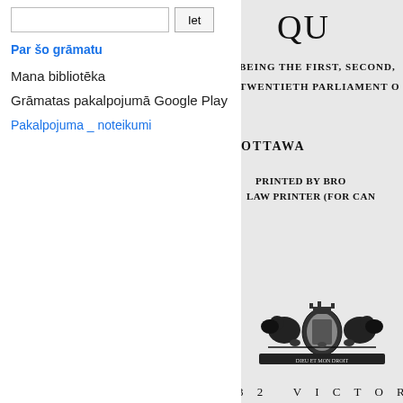Iet (search button)
Par šo grāmatu
Mana bibliotēka
Grāmatas pakalpojumā Google Play
Pakalpojuma _ noteikumi
QU
BEING THE FIRST, SECOND,
TWENTIETH PARLIAMENT O
OTTAWA
PRINTED BY BRO
LAW PRINTER (FOR CAN
[Figure (illustration): Royal coat of arms / crest of Canada, black and white heraldic emblem with lions and unicorn]
32 VICTORIA,